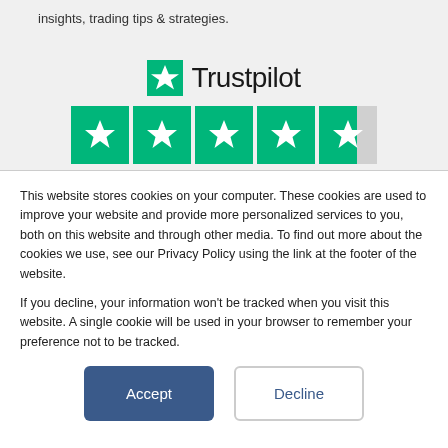insights, trading tips & strategies.
[Figure (logo): Trustpilot logo with green star and name, followed by 4.5 green stars rating row]
TrustScore 4.4 | 169 reviews
This website stores cookies on your computer. These cookies are used to improve your website and provide more personalized services to you, both on this website and through other media. To find out more about the cookies we use, see our Privacy Policy using the link at the footer of the website.

If you decline, your information won't be tracked when you visit this website. A single cookie will be used in your browser to remember your preference not to be tracked.